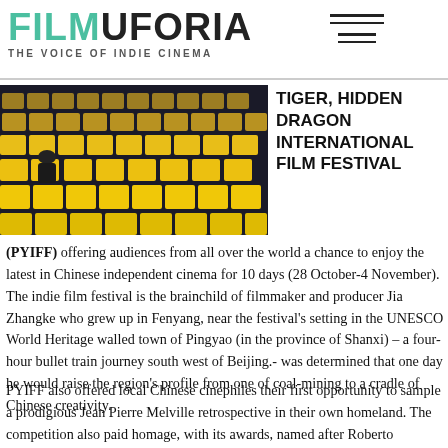FILMUFORIA THE VOICE OF INDIE CINEMA
[Figure (photo): Person sitting alone in yellow stadium/cinema seats]
TIGER, HIDDEN DRAGON INTERNATIONAL FILM FESTIVAL
(PYIFF) offering audiences from all over the world a chance to enjoy the latest in Chinese independent cinema for 10 days (28 October-4 November). The indie film festival is the brainchild of filmmaker and producer Jia Zhangke who grew up in Fenyang, near the festival's setting in the UNESCO World Heritage walled town of Pingyao (in the province of Shanxi) – a four-hour bullet train journey south west of Beijing.- was determined that one day he would raise the region's profile from one of coal-mining to a cradle of Chinese creativity.
PYIFF also offered local Chinese cinephiles their first opportunity to sample a prodigious Jean Pierre Melville retrospective in their own homeland. The competition also paid homage, with its awards, named after Roberto Rossellini, and